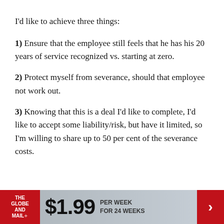I'd like to achieve three things:
1) Ensure that the employee still feels that he has his 20 years of service recognized vs. starting at zero.
2) Protect myself from severance, should that employee not work out.
3) Knowing that this is a deal I'd like to complete, I'd like to accept some liability/risk, but have it limited, so I'm willing to share up to 50 per cent of the severance costs.
[Figure (infographic): The Globe and Mail subscription advertisement banner: $1.99 per week for 24 weeks]